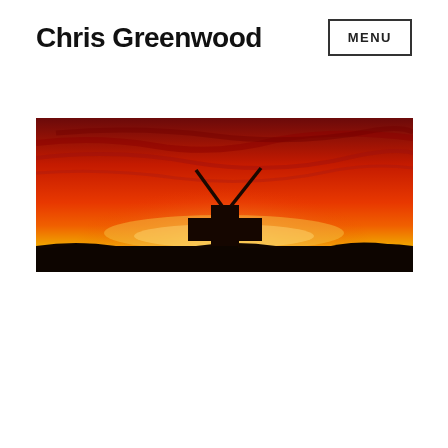Chris Greenwood
MENU
[Figure (photo): A dramatic red and orange sunset sky with silhouette of a cross-shaped sculpture or marker with two diagonal rods extending upward, against a fiery western landscape horizon.]